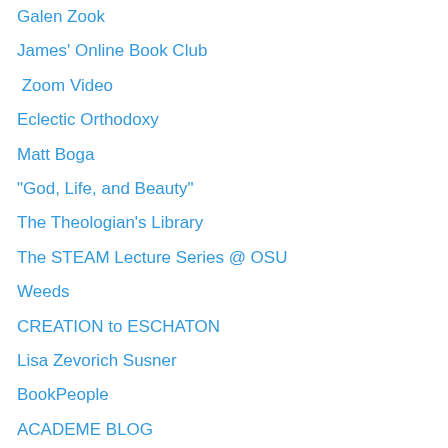Galen Zook
James' Online Book Club
Zoom Video
Eclectic Orthodoxy
Matt Boga
"God, Life, and Beauty"
The Theologian's Library
The STEAM Lecture Series @ OSU
Weeds
CREATION to ESCHATON
Lisa Zevorich Susner
BookPeople
ACADEME BLOG